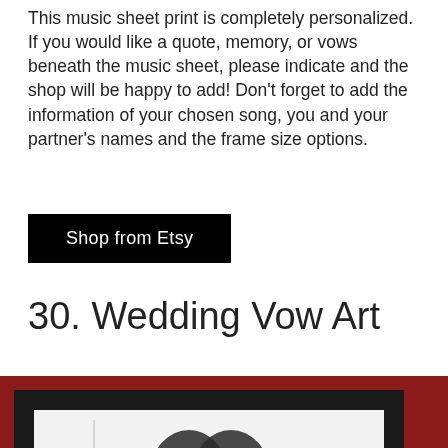This music sheet print is completely personalized. If you would like a quote, memory, or vows beneath the music sheet, please indicate and the shop will be happy to add! Don't forget to add the information of your chosen song, you and your partner's names and the frame size options.
Shop from Etsy
30. Wedding Vow Art
[Figure (photo): A framed artwork showing two silhouette heads (couple) made of tiny text/words forming the shapes, displayed in a black frame against a red background.]